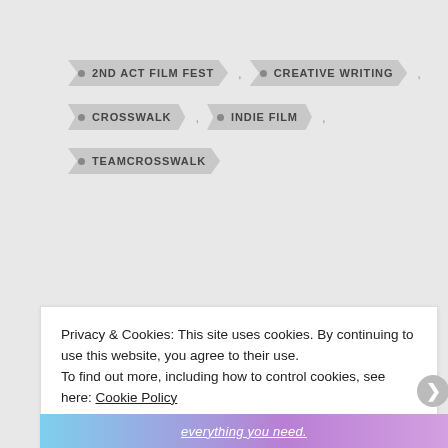2ND ACT FILM FEST
CREATIVE WRITING
CROSSWALK
INDIE FILM
TEAMCROSSWALK
← 2nd Act Film Festival
TEDxColumbia 2014 →
Privacy & Cookies: This site uses cookies. By continuing to use this website, you agree to their use.
To find out more, including how to control cookies, see here: Cookie Policy
Close and accept
everything you need.